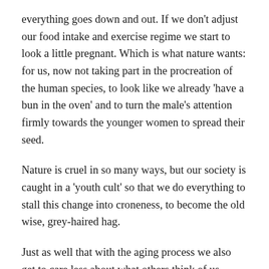everything goes down and out. If we don't adjust our food intake and exercise regime we start to look a little pregnant. Which is what nature wants: for us, now not taking part in the procreation of the human species, to look like we already 'have a bun in the oven' and to turn the male's attention firmly towards the younger women to spread their seed.
Nature is cruel in so many ways, but our society is caught in a 'youth cult' so that we do everything to stall this change into croneness, to become the old wise, grey-haired hag.
Just as well that with the aging process we also get to care less about what others think of us, which softens the blow somewhat.
I for one have decided to ditch the hair colouring merry-go-round and embrace the mottled look of a calico cat with the